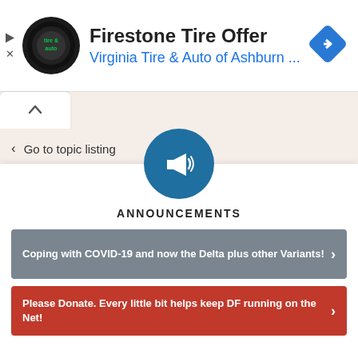[Figure (screenshot): Advertisement banner for Firestone Tire Offer from Virginia Tire & Auto of Ashburn with logo and navigation arrow diamond icon]
Firestone Tire Offer
Virginia Tire & Auto of Ashburn ...
Go to topic listing
ANNOUNCEMENTS
Coping with COVID-19 and now the Delta plus other Variants!
Please Donate. Every little bit helps keep DF running on the Net!